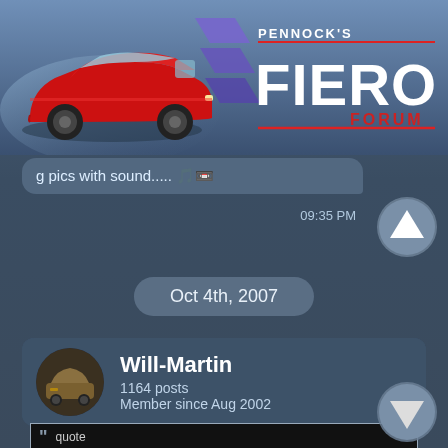[Figure (screenshot): Pennock's Fiero Forum header banner with red Fiero car image and logo]
g pics with sound.....
09:35 PM
Oct 4th, 2007
Will-Martin
1164 posts
Member since Aug 2002
Originally posted by Fierotaz:

Well, the car and I survived the 1200 mile trip to Austin and we stoped to visit Cliff W on the way in, here is a pic of the car by Cliff's place.
[Figure (photo): Outdoor photo showing trees and a house, taken near Cliff's place]